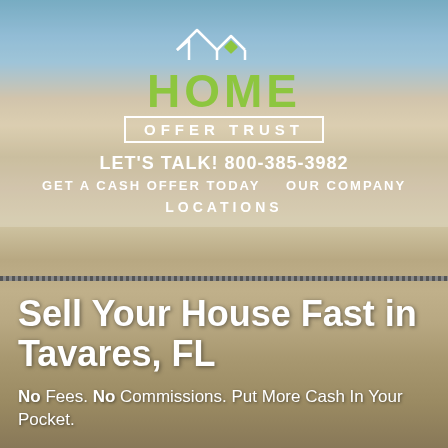[Figure (logo): Home Offer Trust logo with house outline icon above green HOME text and white OFFER TRUST text in bordered box]
LET'S TALK! 800-385-3982
GET A CASH OFFER TODAY    OUR COMPANY
LOCATIONS
Sell Your House Fast in Tavares, FL
No Fees. No Commissions. Put More Cash In Your Pocket.
You'll Get A Fair Offer – You